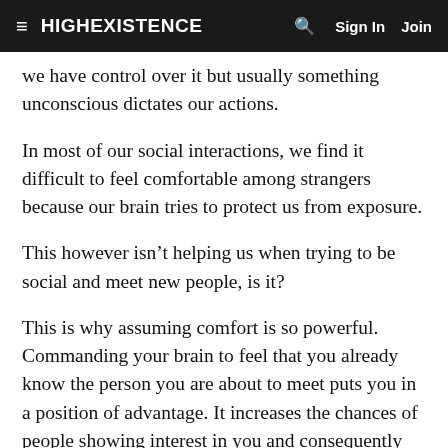≡ HIGHEXISTENCE  🔍  Sign In  Join
we have control over it but usually something unconscious dictates our actions.
In most of our social interactions, we find it difficult to feel comfortable among strangers because our brain tries to protect us from exposure.
This however isn't helping us when trying to be social and meet new people, is it?
This is why assuming comfort is so powerful. Commanding your brain to feel that you already know the person you are about to meet puts you in a position of advantage. It increases the chances of people showing interest in you and consequently even liking you.